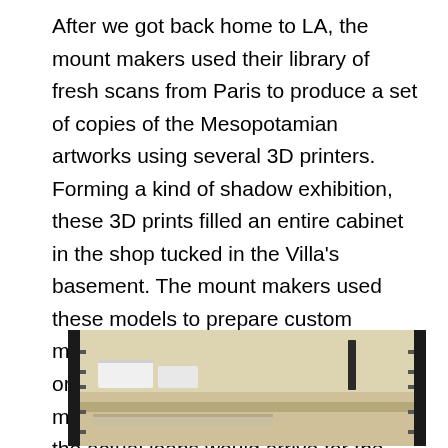After we got back home to LA, the mount makers used their library of fresh scans from Paris to produce a set of copies of the Mesopotamian artworks using several 3D printers. Forming a kind of shadow exhibition, these 3D prints filled an entire cabinet in the shop tucked in the Villa's basement. The mount makers used these models to prepare custom mounts without needing to have the original objects present. This allowed mounts to be fabricated months before the actual loans would arrive for the busy four-week period of installation in the galleries.
[Figure (photo): Photo of an open storage cabinet with shelves, showing 3D printed objects on the shelves. The cabinet has black metal framing and beige/cream colored shelves and interior panels.]